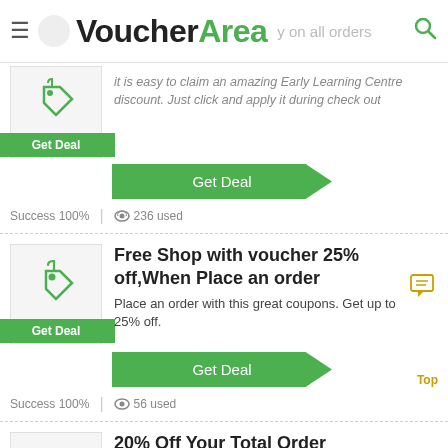VoucherArea – free shipping on all orders
It is easy to claim an amazing Early Learning Centre discount. Just click and apply it during check out
Get Deal
Success 100%  |  236 used
Free Shop with voucher 25% off,When Place an order
Place an order with this great coupons. Get up to 25% off.
Get Deal
Success 100%  |  56 used
20% Off Your Total Order
Get the best discounts with 20% off when you purchase online. Get it before it sold out.